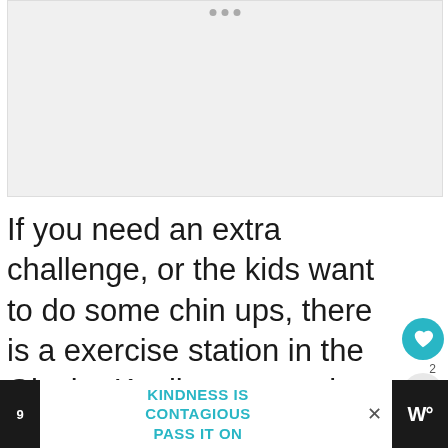[Figure (photo): Empty light gray image placeholder area at top of page with three small dots indicating a carousel or slide indicator]
If you need an extra challenge, or the kids want to do some chin ups, there is a exercise station in the Glacier Knoll area opposite the parking lot! If you're looking for a playground, check out one of these
KINDNESS IS CONTAGIOUS PASS IT ON